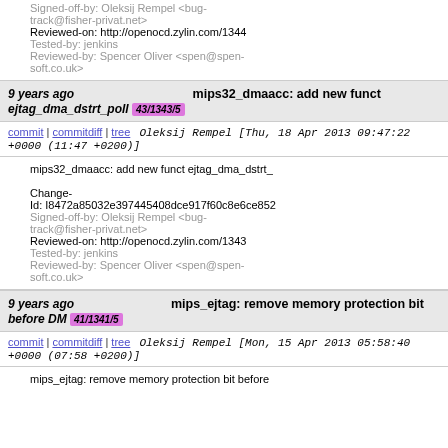Signed-off-by: Oleksij Rempel <bug-track@fisher-privat.net>
Reviewed-on: http://openocd.zylin.com/1344
Tested-by: jenkins
Reviewed-by: Spencer Oliver <spen@spen-soft.co.uk>
9 years ago ejtag_dma_dstrt_poll | mips32_dmaacc: add new funct 43/1343/5
commit | commitdiff | tree   Oleksij Rempel [Thu, 18 Apr 2013 09:47:22 +0000 (11:47 +0200)]
mips32_dmaacc: add new funct ejtag_dma_dstrt_

Change-Id: I8472a85032e397445408dce917f60c8e6ce852
Signed-off-by: Oleksij Rempel <bug-track@fisher-privat.net>
Reviewed-on: http://openocd.zylin.com/1343
Tested-by: jenkins
Reviewed-by: Spencer Oliver <spen@spen-soft.co.uk>
9 years ago before DM 41/1341/5 | mips_ejtag: remove memory protection bit
commit | commitdiff | tree   Oleksij Rempel [Mon, 15 Apr 2013 05:58:40 +0000 (07:58 +0200)]
mips_ejtag: remove memory protection bit before